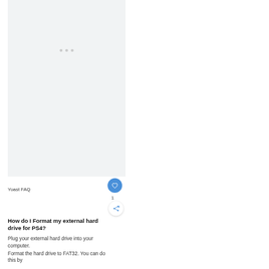[Figure (screenshot): Light gray loading placeholder area with three small gray dots centered, representing an image or ad loading state]
Yoast FAQ
[Figure (other): Blue circular heart/like button icon on the right side]
1
[Figure (other): White circular share button with share icon on right side]
How do I Format my external hard drive for PS4?
Plug your external hard drive into your computer.
Format the hard drive to FAT32. You can do this by